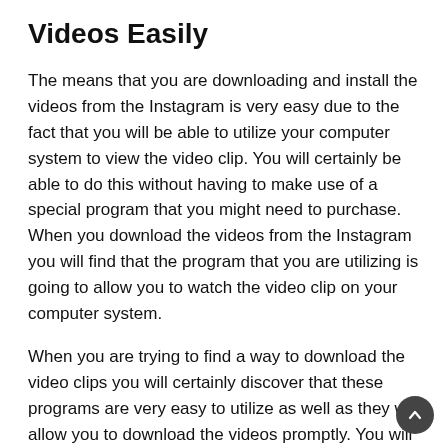Videos Easily
The means that you are downloading and install the videos from the Instagram is very easy due to the fact that you will be able to utilize your computer system to view the video clip. You will certainly be able to do this without having to make use of a special program that you might need to purchase. When you download the videos from the Instagram you will find that the program that you are utilizing is going to allow you to watch the video clip on your computer system.
When you are trying to find a way to download the video clips you will certainly discover that these programs are very easy to utilize as well as they will allow you to download the videos promptly. You will discover that you can download the